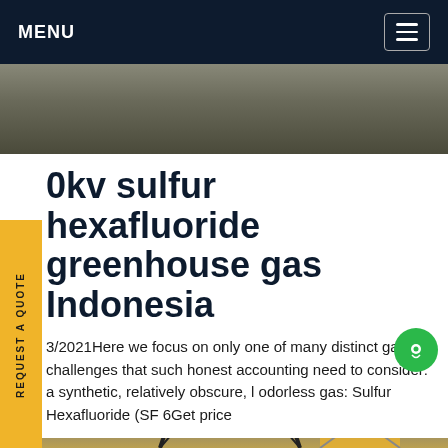MENU
[Figure (photo): Top photo strip showing outdoor infrastructure or road surface]
REQUEST A QUOTE
0kv sulfur hexafluoride greenhouse gas Indonesia
3/2021Here we focus on only one of many distinct gation challenges that such honest accounting need to consider: a synthetic, relatively obscure, l odorless gas: Sulfur Hexafluoride (SF 6Get price
[Figure (photo): Bottom photo showing industrial tower or electrical infrastructure structure]